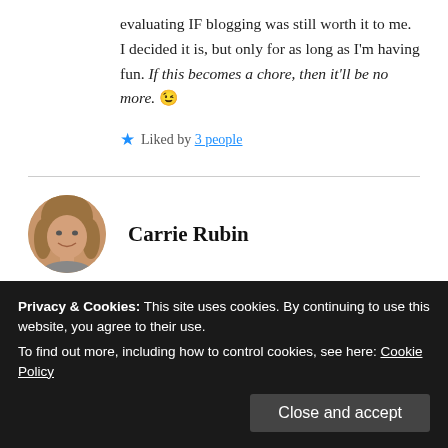evaluating IF blogging was still worth it to me. I decided it is, but only for as long as I'm having fun. If this becomes a chore, then it'll be no more. 😉
★ Liked by 3 people
Carrie Rubin
MAY 15, 2018 AT 5:52 PM
Privacy & Cookies: This site uses cookies. By continuing to use this website, you agree to their use. To find out more, including how to control cookies, see here: Cookie Policy
Close and accept